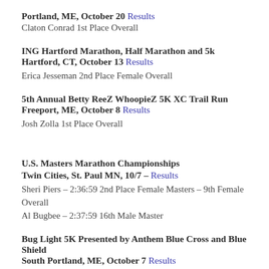Portland, ME, October 20 Results
Claton Conrad 1st Place Overall
ING Hartford Marathon, Half Marathon and 5k Hartford, CT, October 13 Results
Erica Jesseman 2nd Place Female Overall
5th Annual Betty ReeZ WhoopieZ 5K XC Trail Run Freeport, ME, October 8 Results
Josh Zolla 1st Place Overall
U.S. Masters Marathon Championships Twin Cities, St. Paul MN, 10/7 – Results
Sheri Piers – 2:36:59 2nd Place Female Masters – 9th Female Overall
Al Bugbee – 2:37:59 16th Male Master
Bug Light 5K Presented by Anthem Blue Cross and Blue Shield South Portland, ME, October 7 Results